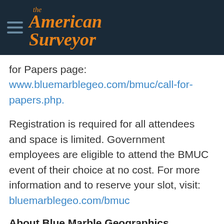The American Surveyor
for Papers page: www.bluemarblegeo.com/bmuc/call-for-papers.php.
Registration is required for all attendees and space is limited. Government employees are eligible to attend the BMUC event of their choice at no cost. For more information and to reserve your slot, visit: bluemarblegeo.com/bmuc
About Blue Marble Geographics
Blue Marble Geographics of Hallowell, Maine is a leading developer and provider of software products and services for highly accurate